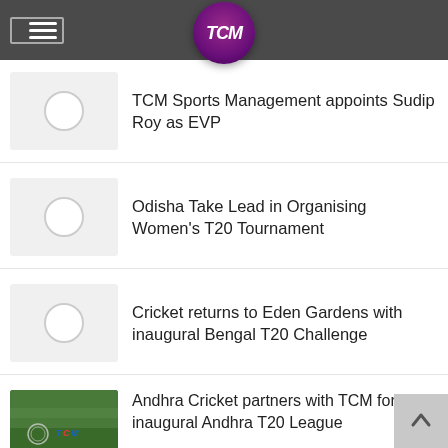TCM Sports Management
TCM Sports Management appoints Sudip Roy as EVP
Odisha Take Lead in Organising Women's T20 Tournament
Cricket returns to Eden Gardens with inaugural Bengal T20 Challenge
Andhra Cricket partners with TCM for the inaugural Andhra T20 League